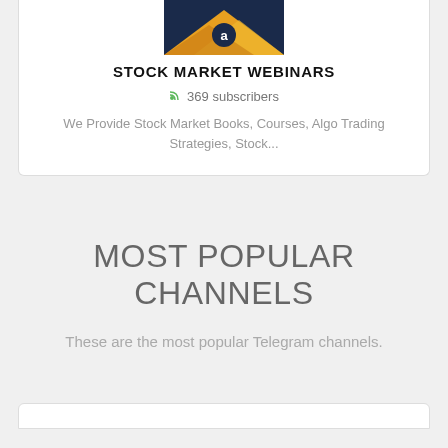[Figure (photo): Partial view of a card with an orange and blue branded image at the top]
STOCK MARKET WEBINARS
369 subscribers
We Provide Stock Market Books, Courses, Algo Trading Strategies, Stock...
MOST POPULAR CHANNELS
These are the most popular Telegram channels.